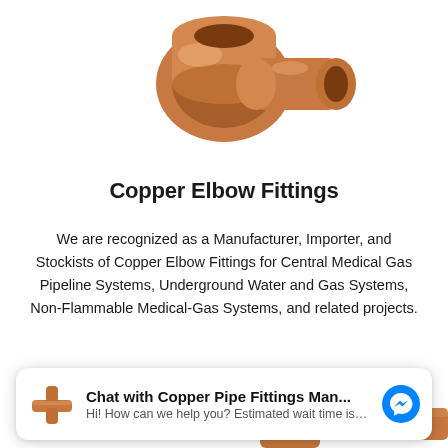[Figure (photo): Copper elbow fittings viewed from above on white background]
Copper Elbow Fittings
We are recognized as a Manufacturer, Importer, and Stockists of Copper Elbow Fittings for Central Medical Gas Pipeline Systems, Underground Water and Gas Systems, Non-Flammable Medical-Gas Systems, and related projects.
[Figure (photo): Copper elbow pipe fitting shown at an angle on white background]
[Figure (screenshot): Facebook Messenger chat widget: 'Chat with Copper Pipe Fittings Man...' with subtext 'Hi! How can we help you? Estimated wait time is...']